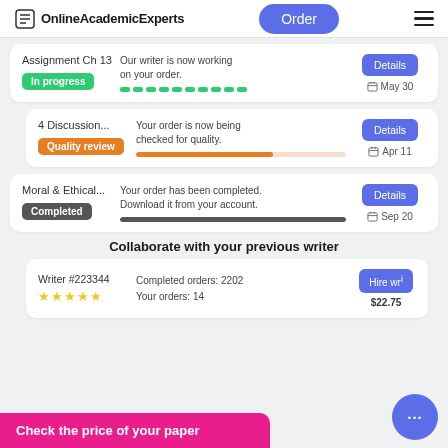OnlineAcademicExperts | Order
Assignment Ch 13 | In progress | Our writer is now working on your order. | May 30 | Details
4 Discussion... | Quality review | Your order is now being checked for quality. | Apr 11 | Details
Moral & Ethical... | Completed | Your order has been completed. Download it from your account. | Sep 20 | Details
Collaborate with your previous writer
Writer #223344 | ★★★★★ | Completed orders: 2202 | Your orders: 14 | Hire wr... | $22.75
Check the price of your paper